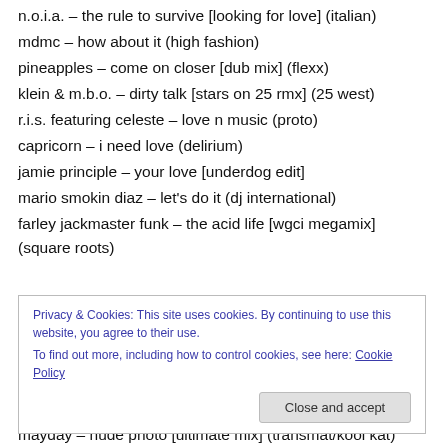n.o.i.a. – the rule to survive [looking for love] (italian)
mdmc – how about it (high fashion)
pineapples – come on closer [dub mix] (flexx)
klein & m.b.o. – dirty talk [stars on 25 rmx] (25 west)
r.i.s. featuring celeste – love n music (proto)
capricorn – i need love (delirium)
jamie principle – your love [underdog edit]
mario smokin diaz – let's do it (dj international)
farley jackmaster funk – the acid life [wgci megamix] (square roots)
Privacy & Cookies: This site uses cookies. By continuing to use this website, you agree to their use.
To find out more, including how to control cookies, see here: Cookie Policy
mayday – nude photo [ultimate mix] (transmat/kool kat)